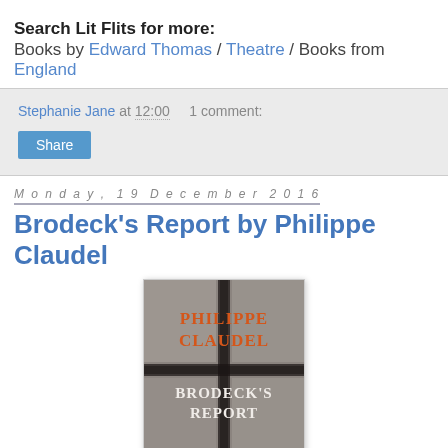Search Lit Flits for more: Books by Edward Thomas / Theatre / Books from England
Stephanie Jane at 12:00   1 comment:
Share
Monday, 19 December 2016
Brodeck's Report by Philippe Claudel
[Figure (photo): Book cover of Brodeck's Report by Philippe Claudel, showing the author name in orange and the title in white on a dark atmospheric background with window grid pattern.]